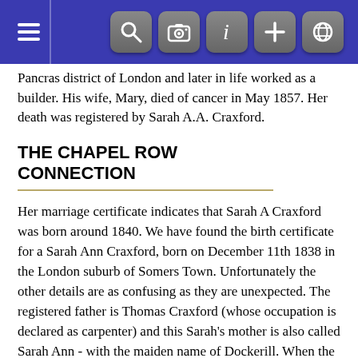[Figure (screenshot): Dark blue toolbar with hamburger menu icon on left and five grey rounded button icons on the right (search, camera, info, plus, globe)]
Pancras district of London and later in life worked as a builder. His wife, Mary, died of cancer in May 1857. Her death was registered by Sarah A.A. Craxford.
THE CHAPEL ROW CONNECTION
Her marriage certificate indicates that Sarah A Craxford was born around 1840. We have found the birth certificate for a Sarah Ann Craxford, born on December 11th 1838 in the London suburb of Somers Town. Unfortunately the other details are as confusing as they are unexpected. The registered father is Thomas Craxford (whose occupation is declared as carpenter) and this Sarah's mother is also called Sarah Ann - with the maiden name of Dockerill. When the